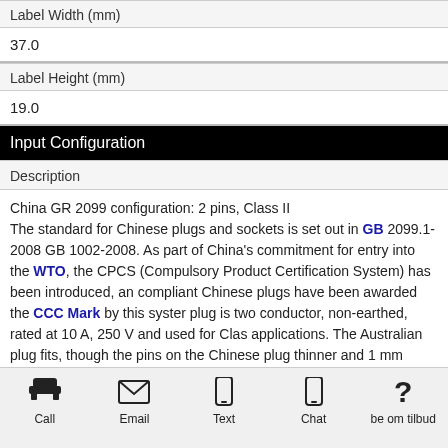| Label Width (mm) | 37.0 |
| Label Height (mm) | 19.0 |
Input Configuration
Description
China GR 2099 configuration: 2 pins, Class II The standard for Chinese plugs and sockets is set out in GB 2099.1-2008 GB 1002-2008. As part of China's commitment for entry into the WTO, the CPCS (Compulsory Product Certification System) has been introduced, and compliant Chinese plugs have been awarded the CCC Mark by this system plug is two conductor, non-earthed, rated at 10 A, 250 V and used for Class applications. The Australian plug fits, though the pins on the Chinese plug thinner and 1 mm (0.039 in) longer. China also uses American/Japanese N 15 sockets and plugs for Class-II appliances. The voltage at a Chinese soc any type is 220.
Call  Email  Text  Chat  be om tilbud